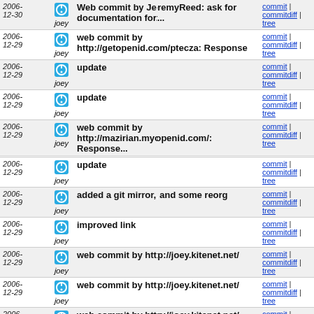| Date | Author | Message | Links |
| --- | --- | --- | --- |
| 2006-12-30 | joey | Web commit by JeremyReed: ask for documentation for... | commit | commitdiff | tree |
| 2006-12-29 | joey | web commit by http://getopenid.com/ptecza: Response | commit | commitdiff | tree |
| 2006-12-29 | joey | update | commit | commitdiff | tree |
| 2006-12-29 | joey | update | commit | commitdiff | tree |
| 2006-12-29 | joey | web commit by http://mazirian.myopenid.com/: Response... | commit | commitdiff | tree |
| 2006-12-29 | joey | update | commit | commitdiff | tree |
| 2006-12-29 | joey | added a git mirror, and some reorg | commit | commitdiff | tree |
| 2006-12-29 | joey | improved link | commit | commitdiff | tree |
| 2006-12-29 | joey | web commit by http://joey.kitenet.net/ | commit | commitdiff | tree |
| 2006-12-29 | joey | web commit by http://joey.kitenet.net/ | commit | commitdiff | tree |
| 2006-12-29 | joey | web commit by http://joey.kitenet.net/ | commit | commitdiff | tree |
| 2006-12-29 | joey | web commit by http://joey.kitenet.net/ | commit | commitdiff | tree |
| 2006-12-29 | joey | userdir fixes | commit | |